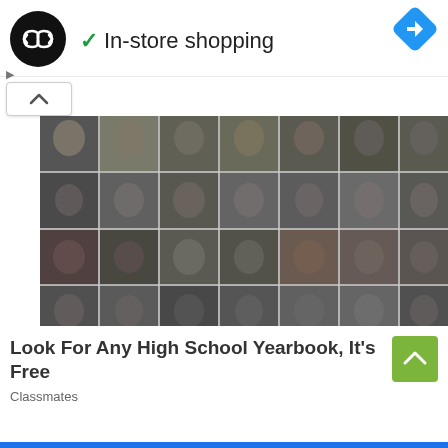[Figure (logo): Black circular logo with infinity-like double arrow symbol in white]
✓ In-store shopping
[Figure (logo): Blue diamond navigation arrow icon]
[Figure (photo): Black and white high school yearbook photo grid showing approximately 28 student portrait photos arranged in 4 rows]
Look For Any High School Yearbook, It's Free
Classmates